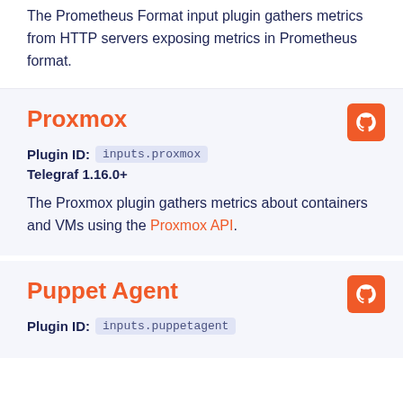The Prometheus Format input plugin gathers metrics from HTTP servers exposing metrics in Prometheus format.
Proxmox
Plugin ID:  inputs.proxmox
Telegraf 1.16.0+
The Proxmox plugin gathers metrics about containers and VMs using the Proxmox API.
Puppet Agent
Plugin ID:  inputs.puppetagent